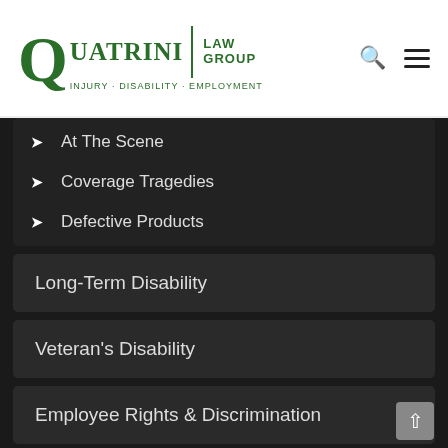Quatrini Law Group · Injury · Disability · Employment
At The Scene
Coverage Tragedies
Defective Products
Long-Term Disability
Veteran's Disability
Employee Rights & Discrimination
Mediation & Labor Arbitration